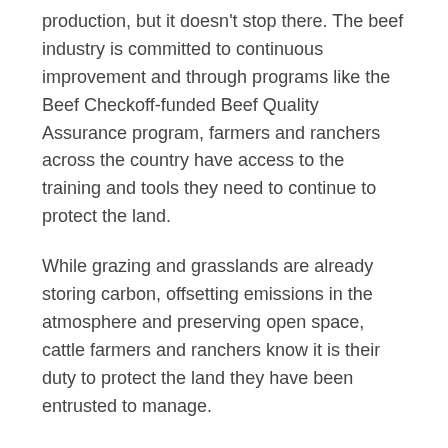production, but it doesn't stop there. The beef industry is committed to continuous improvement and through programs like the Beef Checkoff-funded Beef Quality Assurance program, farmers and ranchers across the country have access to the training and tools they need to continue to protect the land.
While grazing and grasslands are already storing carbon, offsetting emissions in the atmosphere and preserving open space, cattle farmers and ranchers know it is their duty to protect the land they have been entrusted to manage.
1. Smith, P. 2012. Soils and climate change. Current Opinion in Environmental Sustainability 4: 539-544. 2. Schuman, et al. 2002. Soil Carbon dynamics and